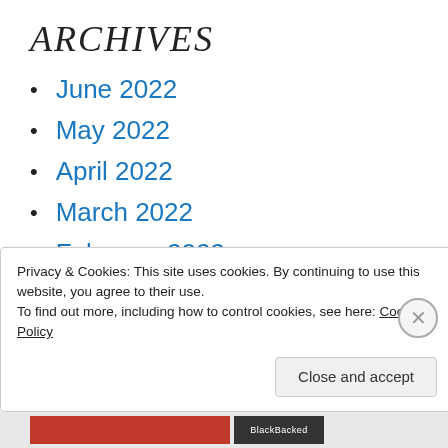ARCHIVES
June 2022
May 2022
April 2022
March 2022
February 2022
January 2022
Privacy & Cookies: This site uses cookies. By continuing to use this website, you agree to their use.
To find out more, including how to control cookies, see here: Cookie Policy
Close and accept